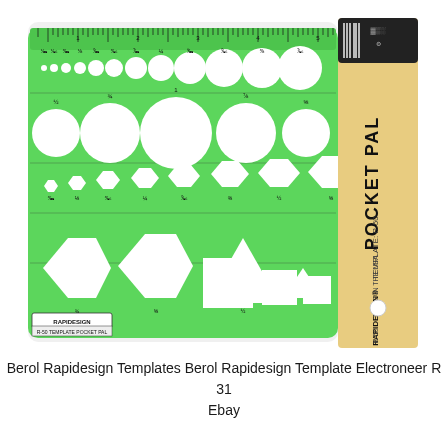[Figure (photo): Berol Rapidesign Pocket Pal Template R-50, a green plastic drafting template with various cutout shapes including circles of multiple sizes (labeled with fractions), hexagons, triangles, squares, and a ruler along the top edge. A yellow cardboard packaging sleeve labeled 'POCKET PAL TEMPLATE: R-50 MADE IN THE USA RAPIDESIGN R-50' is visible on the right side.]
Berol Rapidesign Templates Berol Rapidesign Template Electroneer R 31 Ebay